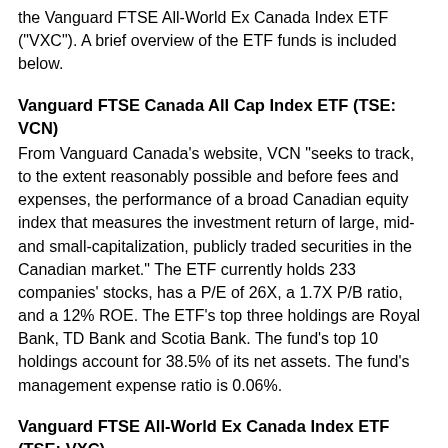the Vanguard FTSE All-World Ex Canada Index ETF ("VXC"). A brief overview of the ETF funds is included below.
Vanguard FTSE Canada All Cap Index ETF (TSE: VCN)
From Vanguard Canada's website, VCN "seeks to track, to the extent reasonably possible and before fees and expenses, the performance of a broad Canadian equity index that measures the investment return of large, mid- and small-capitalization, publicly traded securities in the Canadian market." The ETF currently holds 233 companies' stocks, has a P/E of 26X, a 1.7X P/B ratio, and a 12% ROE. The ETF's top three holdings are Royal Bank, TD Bank and Scotia Bank. The fund's top 10 holdings account for 38.5% of its net assets. The fund's management expense ratio is 0.06%.
Vanguard FTSE All-World Ex Canada Index ETF (TSE: VXC)
Also from Vanguard Canada's website, VXC "seeks to track, to the extent reasonably possible and before fees and expenses, the performance of a broad global equity index that focuses on developed and emerging markets, excluding